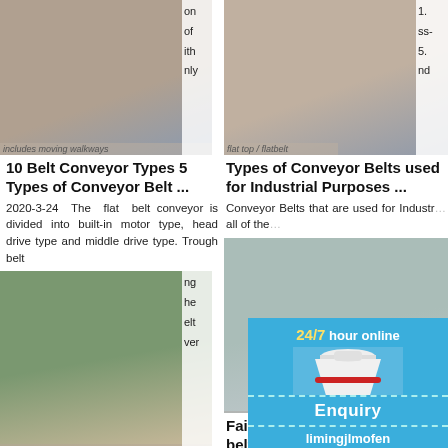[Figure (photo): Mining/quarry conveyor belt machinery photo - left column top]
on of with nly
10 Belt Conveyor Types 5 Types of Conveyor Belt ...
2020-3-24 The flat belt conveyor is divided into built-in motor type, head drive type and middle drive type. Trough belt
ng he elt ver
[Figure (photo): Quarry belt conveyor machinery equipment - left column middle]
Main elements of belt conveyors – elcom – conveyors
The conveyor belt basically consists of a support stand, a drive, one driving pulley and
[Figure (photo): Mining machinery at quarry - right column top]
1. ss- 5. nd
Types of Conveyor Belts used for Industrial Purposes ...
Conveyor Belts that are used for Industr all of the
[Figure (photo): Industrial pipe/conveyor belt close-up photo - right column middle]
Failure a rubber-te belts ...
2019-7-1 belt (P200 compared
[Figure (illustration): 24/7 hour online chat widget with cone crusher machine image, Click me to chat>> button, Enquiry section, and limingjlmofen text]